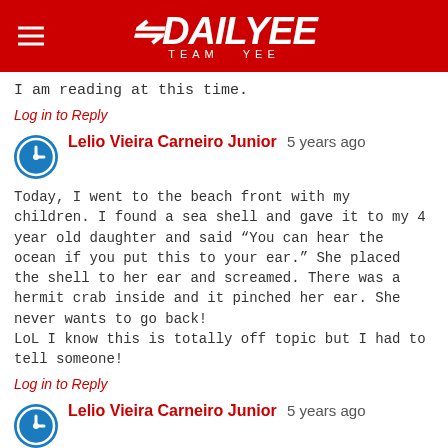DAILYEE TEAM YEE
I am reading at this time.
Log in to Reply
Lelio Vieira Carneiro Junior 5 years ago
Today, I went to the beach front with my children. I found a sea shell and gave it to my 4 year old daughter and said “You can hear the ocean if you put this to your ear.” She placed the shell to her ear and screamed. There was a hermit crab inside and it pinched her ear. She never wants to go back!
LoL I know this is totally off topic but I had to tell someone!
Log in to Reply
Lelio Vieira Carneiro Junior 5 years ago